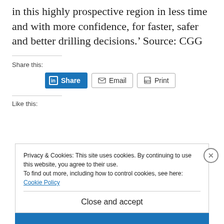in this highly prospective region in less time and with more confidence, for faster, safer and better drilling decisions.' Source: CGG
Share this:
[Figure (infographic): Social share buttons: LinkedIn Share, Email, Print]
Like this:
Privacy & Cookies: This site uses cookies. By continuing to use this website, you agree to their use.
To find out more, including how to control cookies, see here:
Cookie Policy
Close and accept